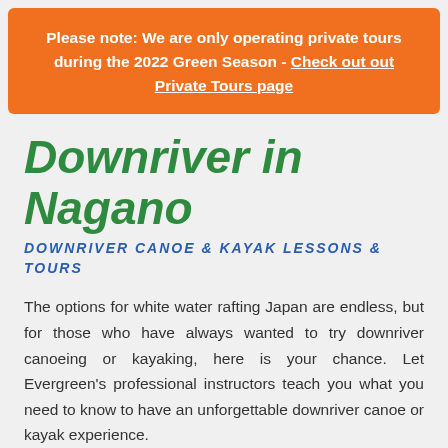Please note: We are only operating private tours during the 2022 Green Season - Check out out Private Tours page
Downriver in Nagano
DOWNRIVER CANOE & KAYAK LESSONS & TOURS
The options for white water rafting Japan are endless, but for those who have always wanted to try downriver canoeing or kayaking, here is your chance. Let Evergreen's professional instructors teach you what you need to know to have an unforgettable downriver canoe or kayak experience.